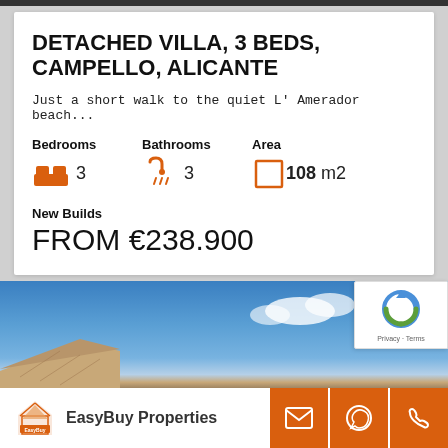DETACHED VILLA, 3 BEDS, CAMPELLO, ALICANTE
Just a short walk to the quiet L' Amerador beach...
Bedrooms 3 | Bathrooms 3 | Area 108 m2
New Builds
FROM €238.900
[Figure (photo): Exterior photo of property showing roof tiles against blue sky with clouds]
[Figure (logo): EasyBuy Properties logo]
EasyBuy Properties